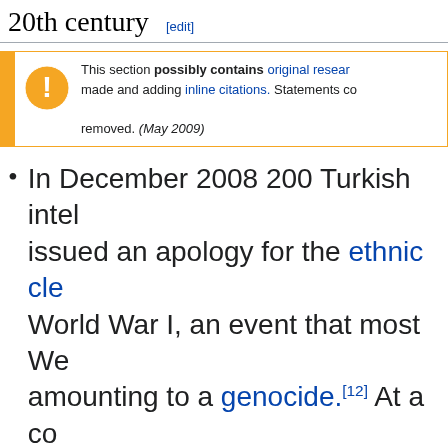20th century [edit]
This section possibly contains original research. made and adding inline citations. Statements con removed. (May 2009)
In December 2008 200 Turkish intel issued an apology for the ethnic cle World War I, an event that most We amounting to a genocide.[12] At a co of ethnic cleansing, held in February was demanded [13]
The Bolshevik regime killed or depo